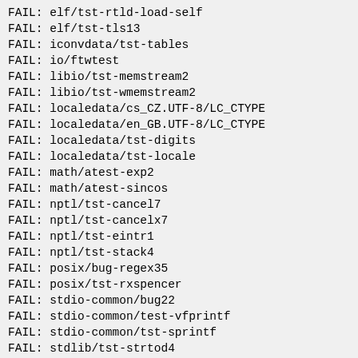FAIL: elf/tst-rtld-load-self
FAIL: elf/tst-tls13
FAIL: iconvdata/tst-tables
FAIL: io/ftwtest
FAIL: libio/tst-memstream2
FAIL: libio/tst-wmemstream2
FAIL: localedata/cs_CZ.UTF-8/LC_CTYPE
FAIL: localedata/en_GB.UTF-8/LC_CTYPE
FAIL: localedata/tst-digits
FAIL: localedata/tst-locale
FAIL: math/atest-exp2
FAIL: math/atest-sincos
FAIL: nptl/tst-cancel7
FAIL: nptl/tst-cancelx7
FAIL: nptl/tst-eintr1
FAIL: nptl/tst-stack4
FAIL: posix/bug-regex35
FAIL: posix/tst-rxspencer
FAIL: stdio-common/bug22
FAIL: stdio-common/test-vfprintf
FAIL: stdio-common/tst-sprintf
FAIL: stdlib/tst-strtod4
FAIL: stdlib/tst-strtod5
FAIL: string/test-strcasecmp
FAIL: string/test-strncasecmp